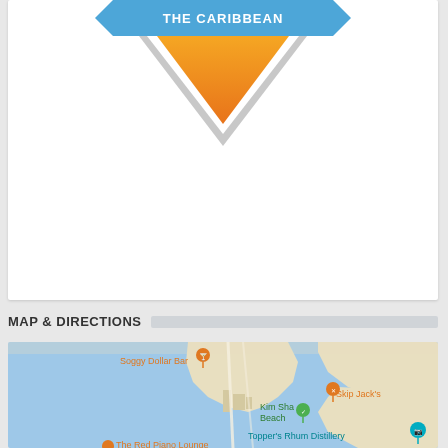[Figure (infographic): The Caribbean badge: blue ribbon banner with text 'THE CARIBBEAN' and an orange gradient downward-pointing chevron/arrow below it on white card background]
MAP & DIRECTIONS
[Figure (map): Google Maps screenshot showing a coastal Caribbean area with blue water and land. Labeled locations include: Soggy Dollar Bar (orange pin), Skip Jack's (orange pin), Kim Sha Beach (green pin), Topper's Rhum Distillery (teal camera pin), and The Red Piano Lounge (orange pin, partially visible at bottom).]